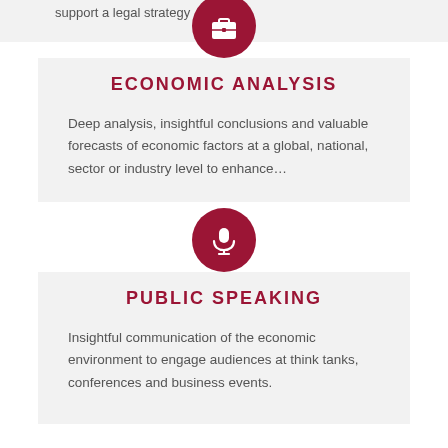support a legal strategy
[Figure (illustration): Red circle icon with a briefcase symbol]
ECONOMIC ANALYSIS
Deep analysis, insightful conclusions and valuable forecasts of economic factors at a global, national, sector or industry level to enhance…
[Figure (illustration): Red circle icon with a microphone symbol]
PUBLIC SPEAKING
Insightful communication of the economic environment to engage audiences at think tanks, conferences and business events.